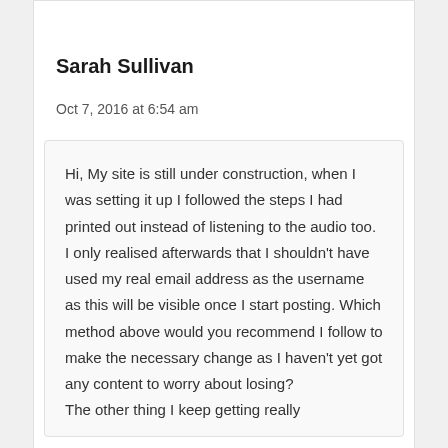Sarah Sullivan
Oct 7, 2016 at 6:54 am
Hi, My site is still under construction, when I was setting it up I followed the steps I had printed out instead of listening to the audio too. I only realised afterwards that I shouldn't have used my real email address as the username as this will be visible once I start posting. Which method above would you recommend I follow to make the necessary change as I haven't yet got any content to worry about losing?
The other thing I keep getting really